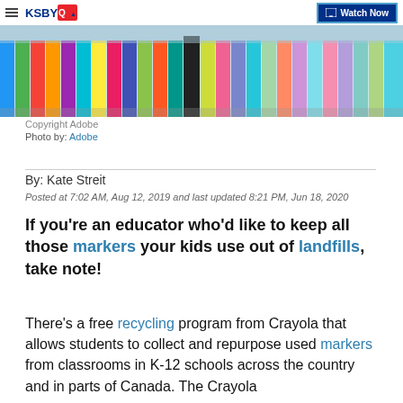KSBY - California's Central Coast | Watch Now
[Figure (photo): A row of colorful pencils/markers arranged side by side, viewed from above, covering the full width of the image.]
Copyright Adobe
Photo by: Adobe
By: Kate Streit
Posted at 7:02 AM, Aug 12, 2019 and last updated 8:21 PM, Jun 18, 2020
If you're an educator who'd like to keep all those markers your kids use out of landfills, take note!
There's a free recycling program from Crayola that allows students to collect and repurpose used markers from classrooms in K-12 schools across the country and in parts of Canada. The Crayola